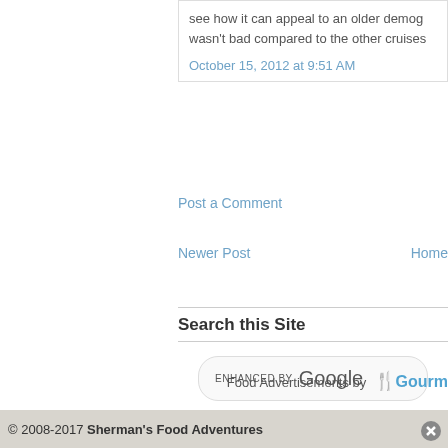see how it can appeal to an older demog... wasn't bad compared to the other cruises...
October 15, 2012 at 9:51 AM
Post a Comment
Newer Post
Home
Search this Site
[Figure (screenshot): Enhanced by Google search box]
Food Advertisements by ✔Gourm
© 2008-2017 Sherman's Food Adventures